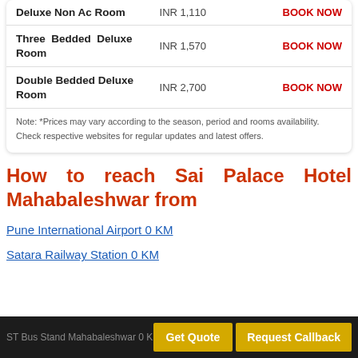| Room Type | Price | Action |
| --- | --- | --- |
| Deluxe Non Ac Room | INR 1,110 | BOOK NOW |
| Three Bedded Deluxe Room | INR 1,570 | BOOK NOW |
| Double Bedded Deluxe Room | INR 2,700 | BOOK NOW |
Note: *Prices may vary according to the season, period and rooms availability. Check respective websites for regular updates and latest offers.
How to reach Sai Palace Hotel Mahabaleshwar from
Pune International Airport 0 KM
Satara Railway Station 0 KM
ST Bus Stand Mahabaleshwar 0 KM
Get Quote | Request Callback